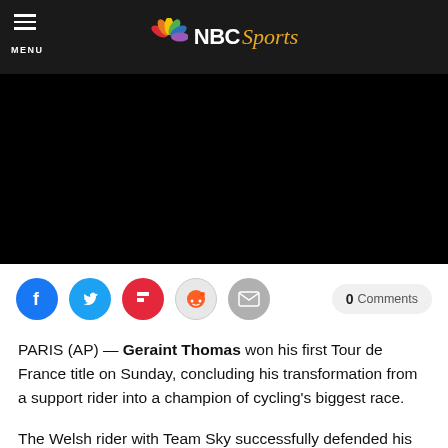NBC Sports
[Figure (screenshot): Black video player area]
[Figure (infographic): Social share buttons: Facebook, Twitter, Flipboard, Reddit, Email, and 0 Comments button]
PARIS (AP) — Geraint Thomas won his first Tour de France title on Sunday, concluding his transformation from a support rider into a champion of cycling's biggest race.
The Welsh rider with Team Sky successfully defended his